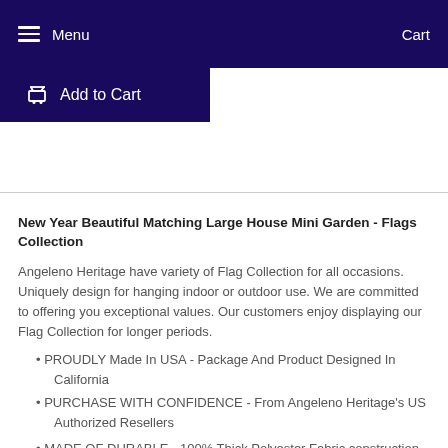Menu   Cart
Add to Cart
New Year Beautiful Matching Large House Mini Garden - Flags Collection
Angeleno Heritage have variety of Flag Collection for all occasions. Uniquely design for hanging indoor or outdoor use. We are committed to offering you exceptional values. Our customers enjoy displaying our Flag Collection for longer periods.
• PROUDLY Made In USA - Package And Product Designed In California
• PURCHASE WITH CONFIDENCE - From Angeleno Heritage's US Authorized Resellers
• MADE OF DURABLE - 100% Thick Polyester Fabric construction helps resist the wear and tear from frequent use
• TEXT READABLE BOTH SIDES - Flag Collection Double-Sided Print
• DURABLE FLAG - Double stitching panels on multiple rows and high quality